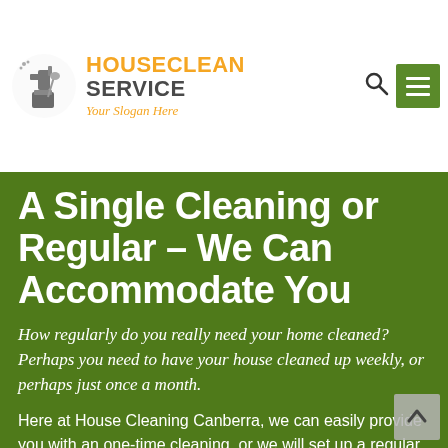[Figure (logo): HouseClean Service logo with cleaning equipment icon, orange and dark grey text, italic slogan 'Your Slogan Here']
A Single Cleaning or Regular – We Can Accommodate You
How regularly do you really need your home cleaned? Perhaps you need to have your house cleaned up weekly, or perhaps just once a month.
Here at House Cleaning Canberra, we can easily provide you with an one-time cleaning, or we will set up a regular cleaning schedule for your residence. Whatever your needs, House Cleaning Canberra is here for you.